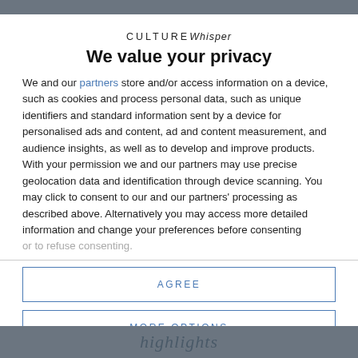CULTURE Whisper
We value your privacy
We and our partners store and/or access information on a device, such as cookies and process personal data, such as unique identifiers and standard information sent by a device for personalised ads and content, ad and content measurement, and audience insights, as well as to develop and improve products. With your permission we and our partners may use precise geolocation data and identification through device scanning. You may click to consent to our and our partners' processing as described above. Alternatively you may access more detailed information and change your preferences before consenting or to refuse consenting.
AGREE
MORE OPTIONS
highlights